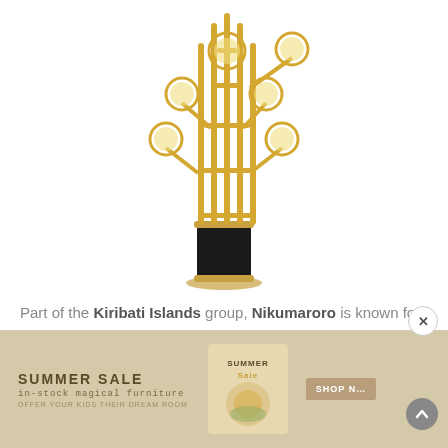[Figure (photo): Gold floor lamp with multiple globe lights on brass tube arms, black cylindrical marble base, on white background]
Part of the Kiribati Islands group, Nikumaroro is known for its incredible coral atoll. It is the beauty of its corals that make the Niku Floor Lamp a rarity.
[Figure (infographic): Tan/beige advertisement banner reading SUMMER SALE In-stock Magical Furniture OFFER YOUR KIDS THEIR DREAM ROOM, with a product image in center and SHOP NOW button on right, plus close X button and scroll up arrow button]